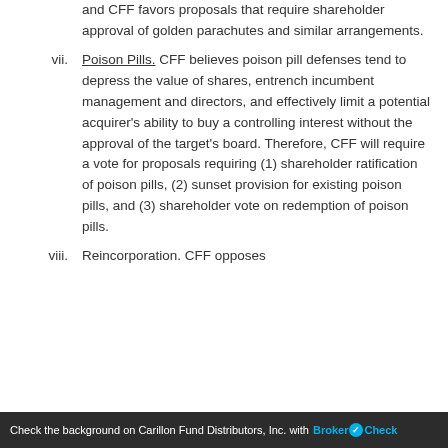and CFF favors proposals that require shareholder approval of golden parachutes and similar arrangements.
vii. Poison Pills. CFF believes poison pill defenses tend to depress the value of shares, entrench incumbent management and directors, and effectively limit a potential acquirer's ability to buy a controlling interest without the approval of the target's board. Therefore, CFF will require a vote for proposals requiring (1) shareholder ratification of poison pills, (2) sunset provision for existing poison pills, and (3) shareholder vote on redemption of poison pills.
viii. Reincorporation. CFF opposes
Check the background on Carillon Fund Distributors, Inc. with BrokerCheck